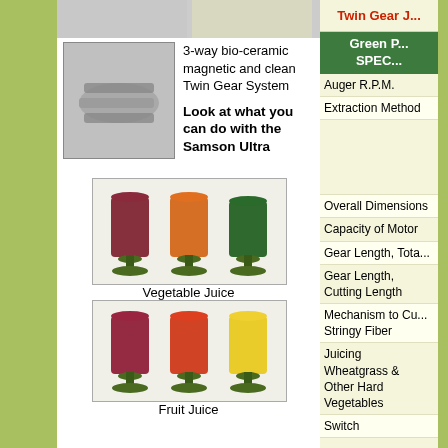[Figure (photo): Twin gear mechanism photo at top]
[Figure (photo): Small product photo top right]
[Figure (photo): 3-way bio-ceramic magnetic twin gear system metal parts photo]
3-way bio-ceramic magnetic and clean Twin Gear System
Look at what you can do with the Samson Ultra
[Figure (photo): Three glasses of vegetable juice - dark red, orange, green]
Vegetable Juice
[Figure (photo): Three glasses of fruit juice - dark red, orange-red, yellow]
Fruit Juice
[Figure (photo): Two cups of wheatgrass and barley juice]
Wheatgrass and Barley Juice
[Figure (photo): Bottom product photo partially visible]
Twin Gear J...
Green P... SPEC...
Auger R.P.M.
Extraction Method
Overall Dimensions
Capacity of Motor
Gear Length, Total
Gear Length, Cutting Length
Mechanism to Cut Stringy Fiber
Juicing Wheatgrass & Other Hard Vegetables
Switch